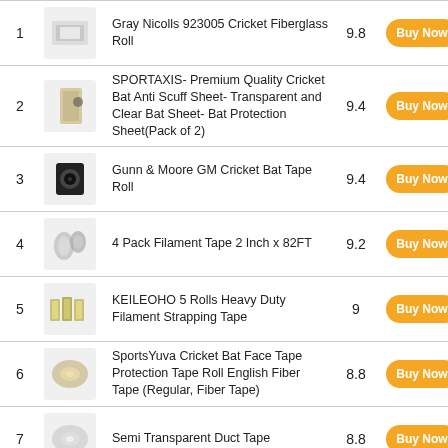| # | Image | Product Name | Score | Action |
| --- | --- | --- | --- | --- |
| 1 |  | Gray Nicolls 923005 Cricket Fiberglass Roll | 9.8 | Buy Now |
| 2 |  | SPORTAXIS- Premium Quality Cricket Bat Anti Scuff Sheet- Transparent and Clear Bat Sheet- Bat Protection Sheet(Pack of 2) | 9.4 | Buy Now |
| 3 |  | Gunn & Moore GM Cricket Bat Tape Roll | 9.4 | Buy Now |
| 4 |  | 4 Pack Filament Tape 2 Inch x 82FT | 9.2 | Buy Now |
| 5 |  | KEILEOHO 5 Rolls Heavy Duty Filament Strapping Tape | 9 | Buy Now |
| 6 |  | SportsYuva Cricket Bat Face Tape Protection Tape Roll English Fiber Tape (Regular, Fiber Tape) | 8.8 | Buy Now |
| 7 |  | Semi Transparent Duct Tape | 8.8 | Buy Now |
| 8 |  | Core Prodigy Fusion Grip Tape - Silicone Rubber Wrap for Pull Up Bars | 8.8 | Buy Now |